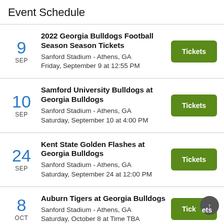Event Schedule
9 SEP | 2022 Georgia Bulldogs Football Season Season Tickets | Sanford Stadium - Athens, GA | Friday, September 9 at 12:55 PM
10 SEP | Samford University Bulldogs at Georgia Bulldogs | Sanford Stadium - Athens, GA | Saturday, September 10 at 4:00 PM
24 SEP | Kent State Golden Flashes at Georgia Bulldogs | Sanford Stadium - Athens, GA | Saturday, September 24 at 12:00 PM
8 OCT | Auburn Tigers at Georgia Bulldogs | Sanford Stadium - Athens, GA | Saturday, October 8 at Time TBA